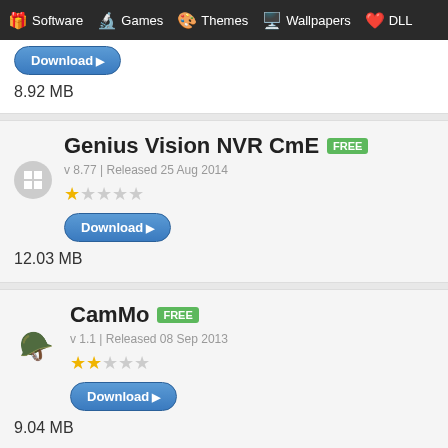Software | Games | Themes | Wallpapers | DLL
8.92 MB
Genius Vision NVR CmE FREE
v 8.77 | Released 25 Aug 2014
Download
12.03 MB
CamMo FREE
v 1.1 | Released 08 Sep 2013
Download
9.04 MB
YouRecorder DEMO / TRIAL